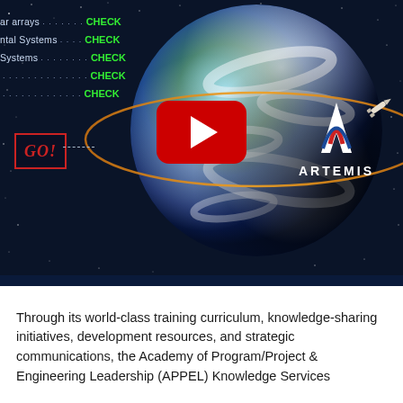[Figure (screenshot): YouTube video thumbnail showing a 3D Earth globe in space with a spacecraft orbiting it (orange orbital ring), the NASA Artemis logo in the lower right, a checklist with CHECK items on the left, a GO! box, and a red YouTube play button in the center. The background is a dark starfield.]
Through its world-class training curriculum, knowledge-sharing initiatives, development resources, and strategic communications, the Academy of Program/Project & Engineering Leadership (APPEL) Knowledge Services